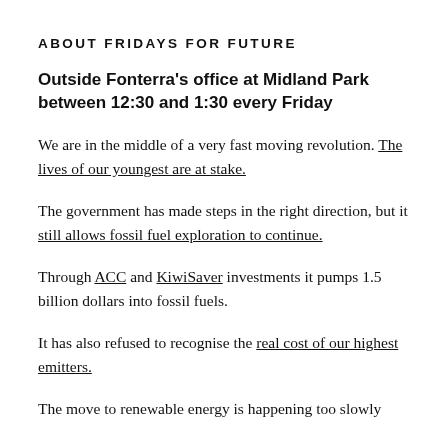ABOUT FRIDAYS FOR FUTURE
Outside Fonterra's office at Midland Park between 12:30 and 1:30 every Friday
We are in the middle of a very fast moving revolution. The lives of our youngest are at stake.
The government has made steps in the right direction, but it still allows fossil fuel exploration to continue.
Through ACC and KiwiSaver investments it pumps 1.5 billion dollars into fossil fuels.
It has also refused to recognise the real cost of our highest emitters.
The move to renewable energy is happening too slowly